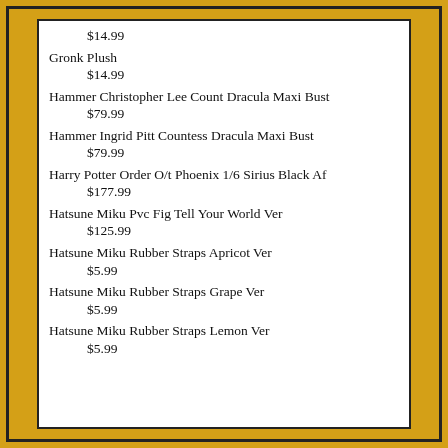$14.99
Gronk Plush
$14.99
Hammer Christopher Lee Count Dracula Maxi Bust
$79.99
Hammer Ingrid Pitt Countess Dracula Maxi Bust
$79.99
Harry Potter Order O/t Phoenix 1/6 Sirius Black Af
$177.99
Hatsune Miku Pvc Fig Tell Your World Ver
$125.99
Hatsune Miku Rubber Straps Apricot Ver
$5.99
Hatsune Miku Rubber Straps Grape Ver
$5.99
Hatsune Miku Rubber Straps Lemon Ver
$5.99